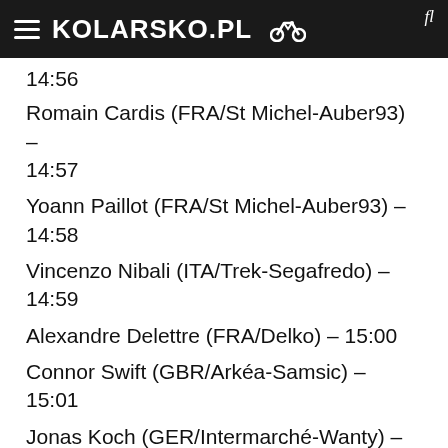KOLARSKO.PL
14:56
Romain Cardis (FRA/St Michel-Auber93) – 14:57
Yoann Paillot (FRA/St Michel-Auber93) – 14:58
Vincenzo Nibali (ITA/Trek-Segafredo) – 14:59
Alexandre Delettre (FRA/Delko) – 15:00
Connor Swift (GBR/Arkéa-Samsic) – 15:01
Jonas Koch (GER/Intermarché-Wanty) – 15:02
Oliver Naesen (BEL/Ag2r-Citroën) – 15:03
Alexys Brunel (FRA/Groupama-FDJ) – 15:04
Quentin Pacher (FRA/B&B Hotels) – 15:05
URKO BER... (A) –
Privacy & Cookies Policy